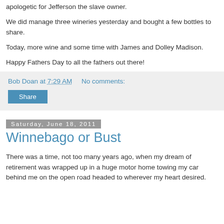apologetic for Jefferson the slave owner.
We did manage three wineries yesterday and bought a few bottles to share.
Today, more wine and some time with James and Dolley Madison.
Happy Fathers Day to all the fathers out there!
Bob Doan at 7:29 AM   No comments:
Share
Saturday, June 18, 2011
Winnebago or Bust
There was a time, not too many years ago, when my dream of retirement was wrapped up in a huge motor home towing my car behind me on the open road headed to wherever my heart desired.